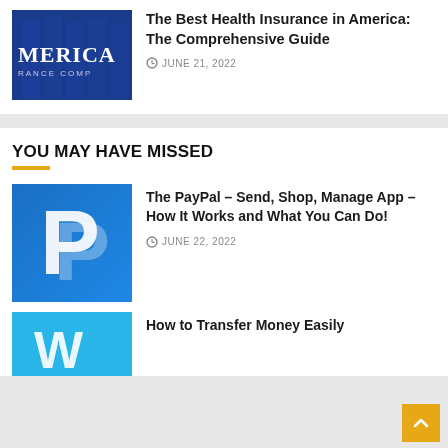[Figure (logo): America Insurance Company logo on dark blue background]
The Best Health Insurance in America: The Comprehensive Guide
JUNE 21, 2022
YOU MAY HAVE MISSED
[Figure (logo): PayPal logo on blue gradient background]
The PayPal – Send, Shop, Manage App – How It Works and What You Can Do!
JUNE 22, 2022
[Figure (logo): Blue app icon on light blue background]
How to Transfer Money Easily